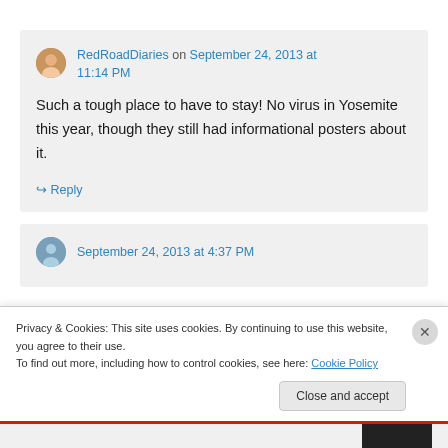RedRoadDiaries on September 24, 2013 at 11:14 PM
Such a tough place to have to stay! No virus in Yosemite this year, though they still had informational posters about it.
↳ Reply
Privacy & Cookies: This site uses cookies. By continuing to use this website, you agree to their use.
To find out more, including how to control cookies, see here: Cookie Policy
Close and accept